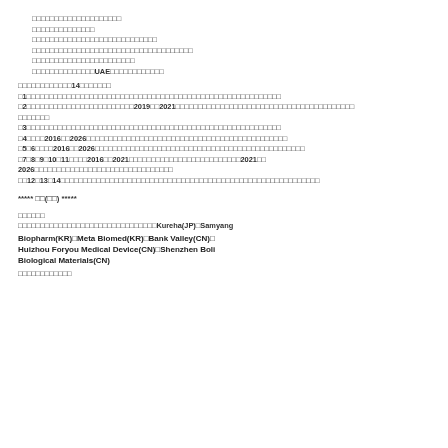（中略）本件は数個の行為が同一の罪名に触れる場合であるから、刑法第54条第1項後段及び第10条により最も重い罪の刑で処断することとし、所定刑中懲役刑を選択し、以上を踏まえ、主文のとおり判決する。なお、没収の裁判をしないのは、本件犯罪使用の製品（UAE製等）が既に廃棄されているからである。
（量刑の理由）本件は14点の犯行である。
注１　本件は、被告人が、薬事法上の製造業の許可及び製造販売業の許可を受けることなく、業として、医薬品の製造及び製造販売を行ったものであって、法定刑は、5年以下の懲役若しくは500万円以下の罰金に処し、又はこれを併科することができるとされている。
注２　なお、被告人の行為は、2019年及び2021年においても行われており、いずれにおいても同様の行為が行われていることが認められる。
（中略）
注３　被告人の行為は、薬事法上の許可を受けることなく行われたものであり、許可を受けていないことにより、製品の安全性や品質が確保されていない可能性がある。
注４　なお2016年及び2026年の行為については、同様の行為が行われていたことが認められ、被告人は継続的にこのような行為を行っていた。
注５、６　また2016年及び2026年においては、被告人の行為によって医薬品の品質管理が適切に行われていなかった可能性がある。
注７、８、９、10、11　また2016年及び2021年においても同様の行為が行われており、その後2021年及び2026年においても同様の行為が継続して行われていた。
注12、13、14　これらの行為はいずれも、薬事法上の許可を受けることなく業として行われたものであり、その結果として製品の安全性や品質に問題が生じる可能性があった。
***** 終わり(以上) *****
競合他社
カテーテル業界の主な競合他社としてはKureha(JP)、Samyang Biopharm(KR)、Meta Biomed(KR)、Bank Valley(CN)、Huizhou Foryou Medical Device(CN)、Shenzhen Boli Biological Materials(CN)
（以下省略）